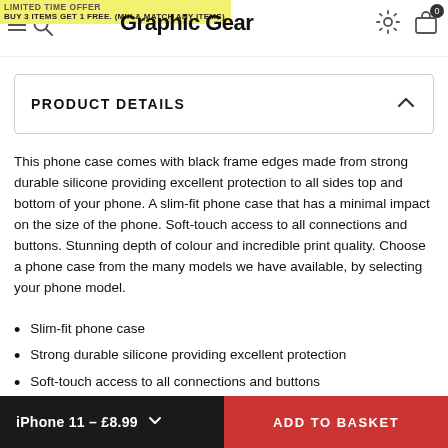LIMITED TIME OFFER
BUY 3 ITEMS GET 1 FREE. (MIX & MATCH ANY ITEMS)
Graphic Gear
PRODUCT DETAILS
This phone case comes with black frame edges made from strong durable silicone providing excellent protection to all sides top and bottom of your phone. A slim-fit phone case that has a minimal impact on the size of the phone. Soft-touch access to all connections and buttons. Stunning depth of colour and incredible print quality. Choose a phone case from the many models we have available, by selecting your phone model.
Slim-fit phone case
Strong durable silicone providing excellent protection
Soft-touch access to all connections and buttons
Stunning depth of colour and incredible print quality.
iPhone 11 – £8.99  ADD TO BASKET